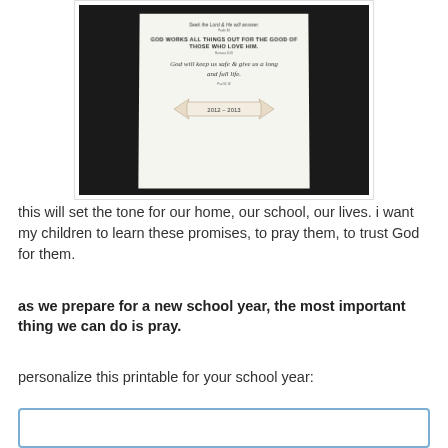[Figure (photo): Photo of a printed school year prayer/promises printable on white paper against a dark background. The printable contains religious quotes including 'Seek the Lord & He will answer', 'GOD WORKS ALL THINGS OUT FOR THE GOOD OF THOSE WHO LOVE HIM.', 'God will keep us safe & give us a long and full life.' and a banner reading '2012–2013'.]
this will set the tone for our home, our school, our lives. i want my children to learn these promises, to pray them, to trust God for them.
as we prepare for a new school year, the most important thing we can do is pray.
personalize this printable for your school year: